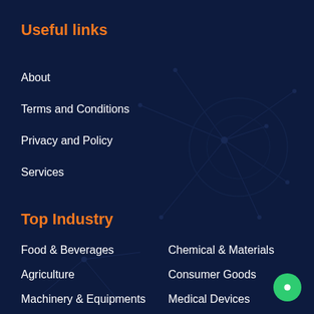Useful links
About
Terms and Conditions
Privacy and Policy
Services
Top Industry
Food & Beverages
Agriculture
Machinery & Equipments
Life Sciences
ICT & Semiconductor
Chemical & Materials
Consumer Goods
Medical Devices
Semiconductor
Power & Energy